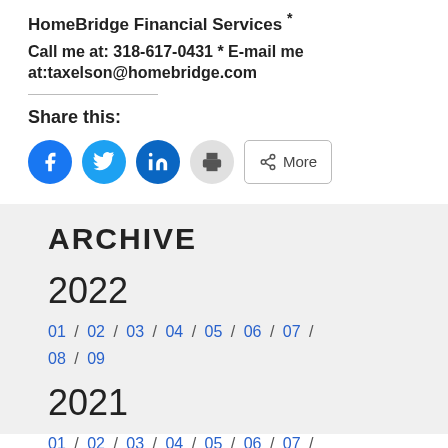HomeBridge Financial Services *
Call me at: 318-617-0431 * E-mail me at:taxelson@homebridge.com
Share this:
[Figure (infographic): Social share buttons: Facebook (blue circle), Twitter (light blue circle), LinkedIn (dark blue circle), Print (grey circle), and a More button with share icon]
ARCHIVE
2022
01 / 02 / 03 / 04 / 05 / 06 / 07 / 08 / 09
2021
01 / 02 / 03 / 04 / 05 / 06 / 07 /